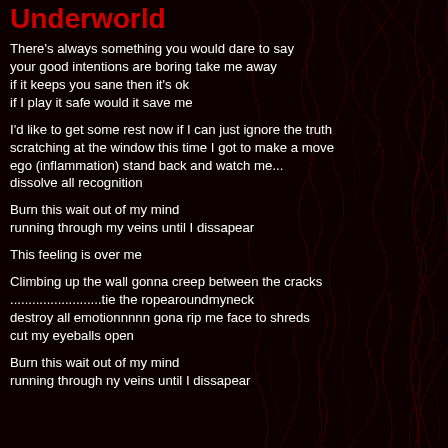Underworld
There's always something you would dare to say
your good intentions are boring take me away
if it keeps you sane then it's ok
if I play it safe would it save me
I'd like to get some rest now if I can just ignore the truth
scratching at the window this time I got to make a move
ego (inflammation) stand back and watch me...
dissolve all recognition
Burn this wait out of my mind
running through my veins until I dissapear
This feeling is over me
Climbing up the wall gonna creep between the cracks
.........................tie the ropearoundmyneck
destroy all emotionnnnn gona rip me face to shreds
cut my eyeballs open
Burn this wait out of my mind
running through ny veins until I dissapear